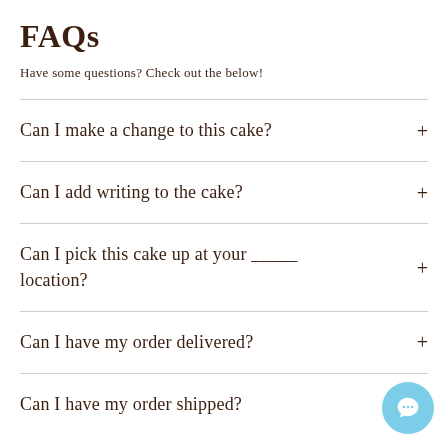FAQs
Have some questions? Check out the below!
Can I make a change to this cake?
Can I add writing to the cake?
Can I pick this cake up at your _____ location?
Can I have my order delivered?
Can I have my order shipped?